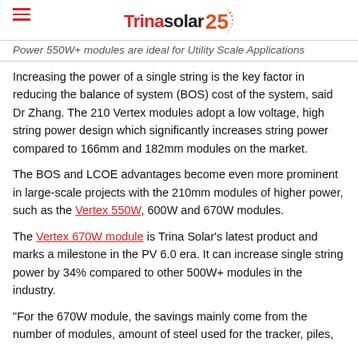Trina Solar 25
Power 550W+ modules are ideal for Utility Scale Applications
Increasing the power of a single string is the key factor in reducing the balance of system (BOS) cost of the system, said Dr Zhang. The 210 Vertex modules adopt a low voltage, high string power design which significantly increases string power compared to 166mm and 182mm modules on the market.
The BOS and LCOE advantages become even more prominent in large-scale projects with the 210mm modules of higher power, such as the Vertex 550W, 600W and 670W modules.
The Vertex 670W module is Trina Solar's latest product and marks a milestone in the PV 6.0 era. It can increase single string power by 34% compared to other 500W+ modules in the industry.
"For the 670W module, the savings mainly come from the number of modules, amount of steel used for the tracker, piles,